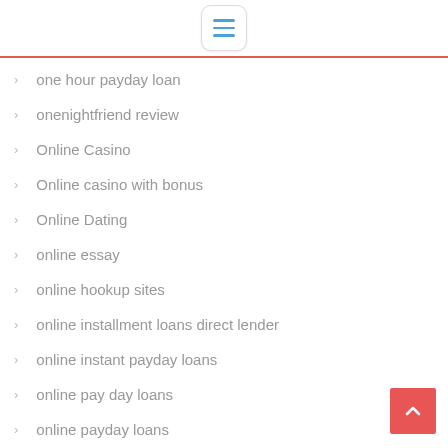Menu navigation header
one hour payday loan
onenightfriend review
Online Casino
Online casino with bonus
Online Dating
online essay
online hookup sites
online installment loans direct lender
online instant payday loans
online pay day loans
online payday loans